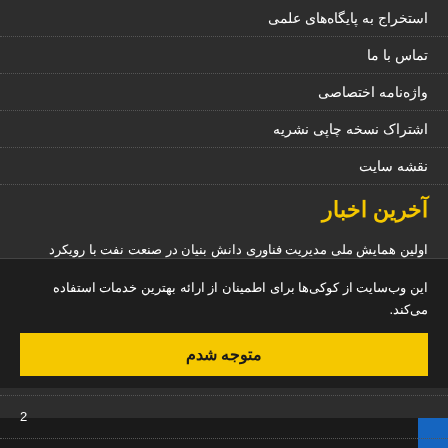استخراج به پایگاه‌های علمی
تماس با ما
واژه‌نامه اختصاصی
اشتراک نسخه چاپی نشریه
نقشه سایت
آخرین اخبار
اولین همایش ملی مدیریت فناوری دانش بنیان در صنعت نفت با رویکرد چالش‌ها و فرصت‌ها (put.ac.ir) زمان برگزاری (24-22) آذرماه 1401
1401-05-15
26 الی 28 مهر
این وب‌سایت از کوکی‌ها برای اطمینان از ارائه بهترین خدمات استفاده می‌کند.
متوجه شدم
1398-02-17
ماه 1397_
2